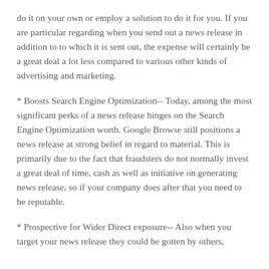do it on your own or employ a solution to do it for you. If you are particular regarding when you send out a news release in addition to to which it is sent out, the expense will certainly be a great deal a lot less compared to various other kinds of advertising and marketing.
* Boosts Search Engine Optimization-- Today, among the most significant perks of a news release hinges on the Search Engine Optimization worth. Google Browse still positions a news release at strong belief in regard to material. This is primarily due to the fact that fraudsters do not normally invest a great deal of time, cash as well as initiative on generating news release, so if your company does after that you need to be reputable.
* Prospective for Wider Direct exposure-- Also when you target your news release they could be gotten by others, resulting from an interest in the subject matter.